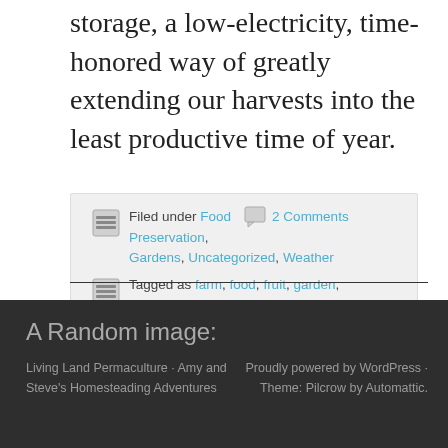storage, a low-electricity, time-honored way of greatly extending our harvests into the least productive time of year.
Filed under Food  2 Comments  Preservation, Gardens, Uncategorized, Weather  Tagged as farm, food, fruit, garden, harvest, local, preservation, vegetable, winter
A Random image:
Living Land Permaculture · Amy and Steve's Homesteading Adventures    Proudly powered by WordPress · Theme: Pilcrow by Automattic.